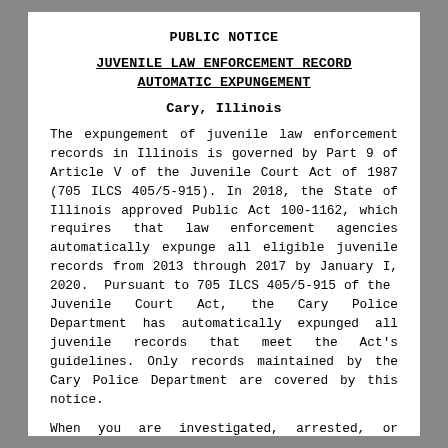PUBLIC NOTICE
JUVENILE LAW ENFORCEMENT RECORD AUTOMATIC EXPUNGEMENT
Cary, Illinois
The expungement of juvenile law enforcement records in Illinois is governed by Part 9 of Article V of the Juvenile Court Act of 1987 (705 ILCS 405/5-915). In 2018, the State of Illinois approved Public Act 100-1162, which requires that law enforcement agencies automatically expunge all eligible juvenile records from 2013 through 2017 by January I, 2020. Pursuant to 705 ILCS 405/5-915 of the Juvenile Court Act, the Cary Police Department has automatically expunged all juvenile records that meet the Act's guidelines. Only records maintained by the Cary Police Department are covered by this notice.
When you are investigated, arrested, or charged with an offense, a law enforcement record is created, even if you